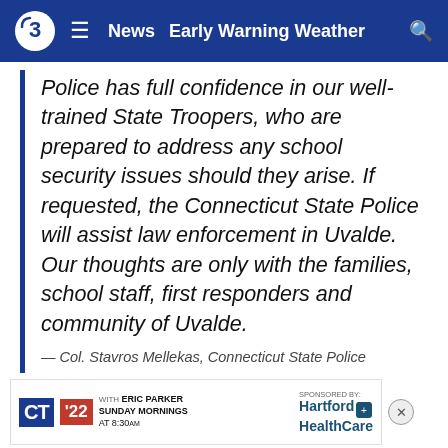News  Early Warning Weather
Police has full confidence in our well-trained State Troopers, who are prepared to address any school security issues should they arise. If requested, the Connecticut State Police will assist law enforcement in Uvalde. Our thoughts are only with the families, school staff, first responders and community of Uvalde.
— Col. Stavros Mellekas, Connecticut State Police
Many state lawmakers made pleas to one another to act.
At the s... Robb E...